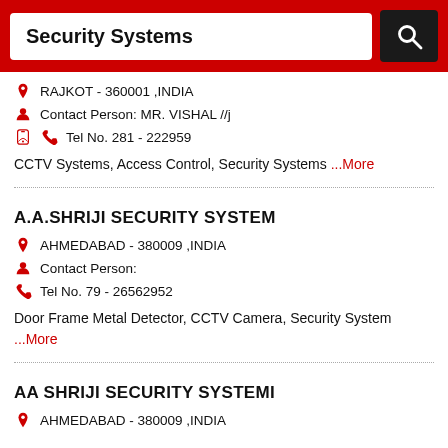Security Systems
RAJKOT - 360001 ,INDIA | Contact Person: MR. VISHAL //j | Tel No. 281 - 222959
CCTV Systems, Access Control, Security Systems ...More
A.A.SHRIJI SECURITY SYSTEM
AHMEDABAD - 380009 ,INDIA | Contact Person: | Tel No. 79 - 26562952
Door Frame Metal Detector, CCTV Camera, Security System ...More
AA SHRIJI SECURITY SYSTEMI
AHMEDABAD - 380009 ,INDIA